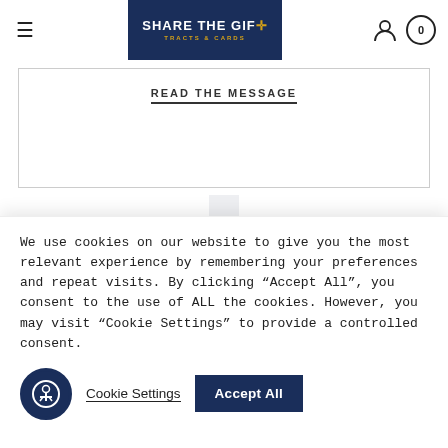SHARE THE GIFT TRACTS & CARDS
READ THE MESSAGE
[Figure (logo): Large 'SHARE THE GIFT' logo with dark navy text and gold cross symbol, watermark-style in background]
We use cookies on our website to give you the most relevant experience by remembering your preferences and repeat visits. By clicking "Accept All", you consent to the use of ALL the cookies. However, you may visit "Cookie Settings" to provide a controlled consent.
Cookie Settings   Accept All